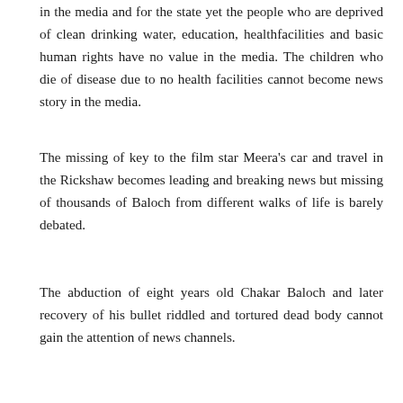in the media and for the state yet the people who are deprived of clean drinking water, education, healthfacilities and basic human rights have no value in the media. The children who die of disease due to no health facilities cannot become news story in the media.
The missing of key to the film star Meera's car and travel in the Rickshaw becomes leading and breaking news but missing of thousands of Baloch from different walks of life is barely debated.
The abduction of eight years old Chakar Baloch and later recovery of his bullet riddled and tortured dead body cannot gain the attention of news channels.